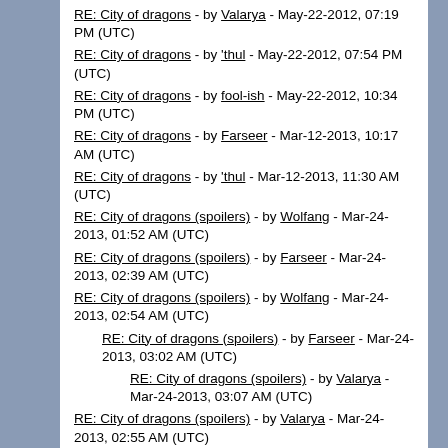RE: City of dragons - by Valarya - May-22-2012, 07:19 PM (UTC)
RE: City of dragons - by 'thul - May-22-2012, 07:54 PM (UTC)
RE: City of dragons - by fool-ish - May-22-2012, 10:34 PM (UTC)
RE: City of dragons - by Farseer - Mar-12-2013, 10:17 AM (UTC)
RE: City of dragons - by 'thul - Mar-12-2013, 11:30 AM (UTC)
RE: City of dragons (spoilers) - by Wolfang - Mar-24-2013, 01:52 AM (UTC)
RE: City of dragons (spoilers) - by Farseer - Mar-24-2013, 02:39 AM (UTC)
RE: City of dragons (spoilers) - by Wolfang - Mar-24-2013, 02:54 AM (UTC)
RE: City of dragons (spoilers) - by Farseer - Mar-24-2013, 03:02 AM (UTC)
RE: City of dragons (spoilers) - by Valarya - Mar-24-2013, 03:07 AM (UTC)
RE: City of dragons (spoilers) - by Valarya - Mar-24-2013, 02:55 AM (UTC)
RE: City of dragons (spoilers) - by Farseer - Mar-24-